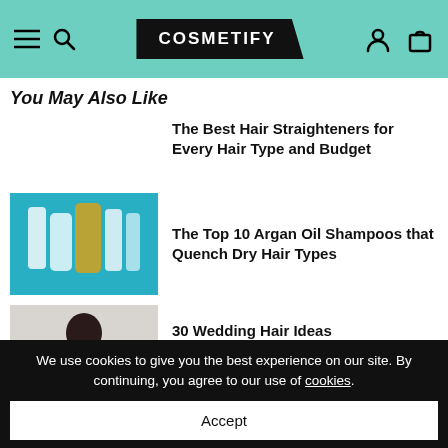COSMETIFY
You May Also Like
The Best Hair Straighteners for Every Hair Type and Budget
[Figure (photo): Product photo placeholder for hair straighteners]
The Top 10 Argan Oil Shampoos that Quench Dry Hair Types
[Figure (photo): Shampoo bottles on teal glitter background]
30 Wedding Hair Ideas
[Figure (photo): Woman with dark updo hairstyle]
We use cookies to give you the best experience on our site. By continuing, you agree to our use of cookies.
Accept